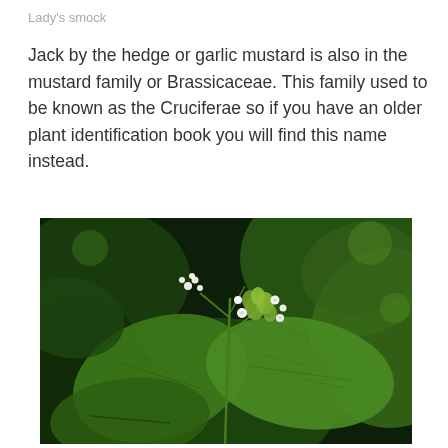Lady's smock
Jack by the hedge or garlic mustard is also in the mustard family or Brassicaceae. This family used to be known as the Cruciferae so if you have an older plant identification book you will find this name instead.
[Figure (photo): Close-up photograph of garlic mustard plant (Jack by the hedge) showing green serrated leaves and small white flowers with greenish buds, against a dark background.]